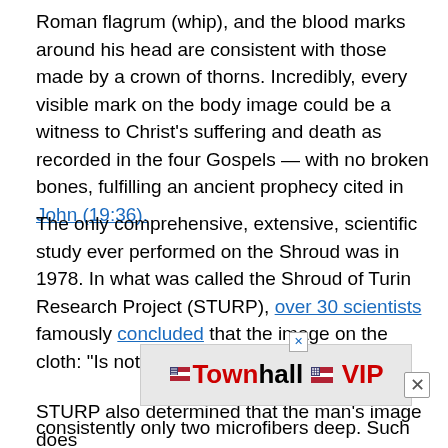Roman flagrum (whip), and the blood marks around his head are consistent with those made by a crown of thorns. Incredibly, every visible mark on the body image could be a witness to Christ's suffering and death as recorded in the four Gospels — with no broken bones, fulfilling an ancient prophecy cited in John (19:36).
The only comprehensive, extensive, scientific study ever performed on the Shroud was in 1978. In what was called the Shroud of Turin Research Project (STURP), over 30 scientists famously concluded that the image on the cloth: "Is not the product of an artist."
[Figure (other): Townhall VIP advertisement banner with red and black text and small flag icon]
STURP also determined that the man's image does... consistently only two microfibers deep. Such